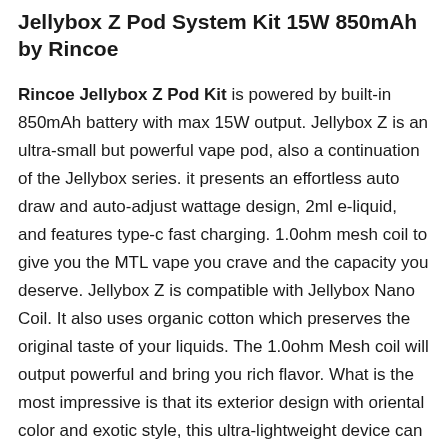Jellybox Z Pod System Kit 15W 850mAh by Rincoe
Rincoe Jellybox Z Pod Kit is powered by built-in 850mAh battery with max 15W output. Jellybox Z is an ultra-small but powerful vape pod, also a continuation of the Jellybox series. it presents an effortless auto draw and auto-adjust wattage design, 2ml e-liquid, and features type-c fast charging. 1.0ohm mesh coil to give you the MTL vape you crave and the capacity you deserve. Jellybox Z is compatible with Jellybox Nano Coil. It also uses organic cotton which preserves the original taste of your liquids. The 1.0ohm Mesh coil will output powerful and bring you rich flavor. What is the most impressive is that its exterior design with oriental color and exotic style, this ultra-lightweight device can be kept in the pocket and